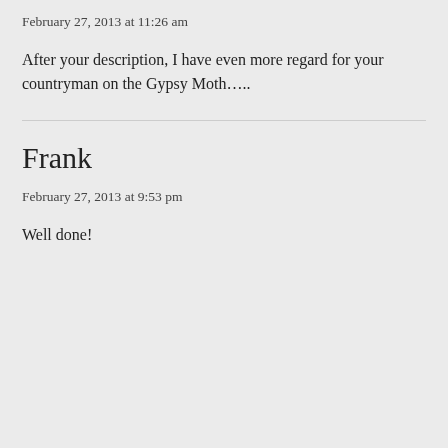February 27, 2013 at 11:26 am
After your description, I have even more regard for your countryman on the Gypsy Moth…..
Frank
February 27, 2013 at 9:53 pm
Well done!